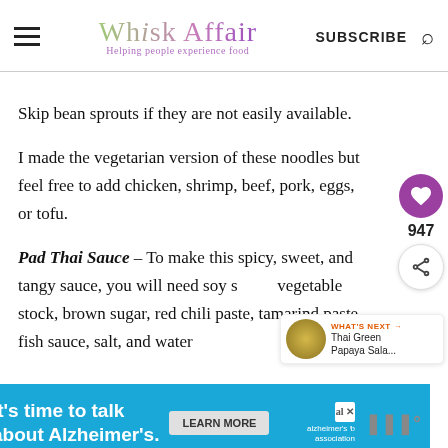Whisk Affair — Helping people experience food | SUBSCRIBE
Skip bean sprouts if they are not easily available.
I made the vegetarian version of these noodles but feel free to add chicken, shrimp, beef, pork, eggs, or tofu.
Pad Thai Sauce – To make this spicy, sweet, and tangy sauce, you will need soy sauce, vegetable stock, brown sugar, red chili paste, tamarind paste, fish sauce, salt, and water
[Figure (other): Advertisement banner: It's time to talk about Alzheimer's. with Learn More button and Alzheimer's Association logo]